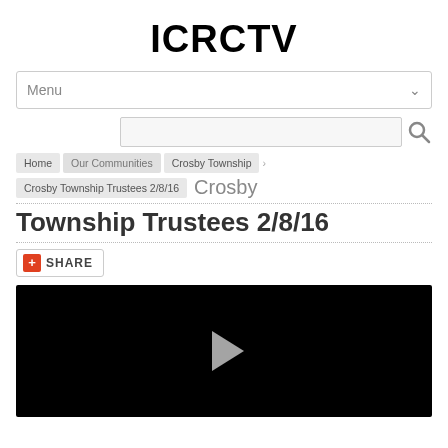ICRCTV
Menu
Home  Our Communities  Crosby Township  Crosby Township Trustees 2/8/16  Crosby Township Trustees 2/8/16
Crosby Township Trustees 2/8/16
SHARE
[Figure (screenshot): Black video player area with a play button triangle in the center]